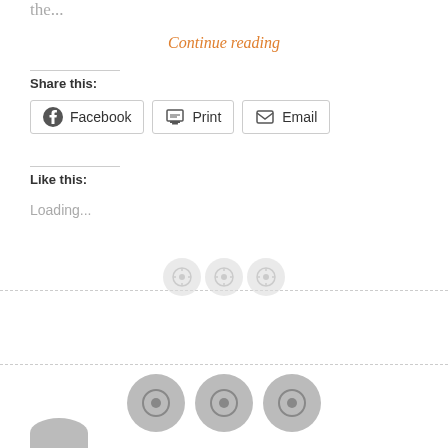the...
Continue reading
Share this:
[Figure (other): Share buttons: Facebook, Print, Email]
Like this:
Loading...
[Figure (other): Three light circular button icons in a row on a dashed divider]
[Figure (other): Three darker circular social share button icons in a row on a dashed divider]
[Figure (other): Partial circular button icon at bottom edge]